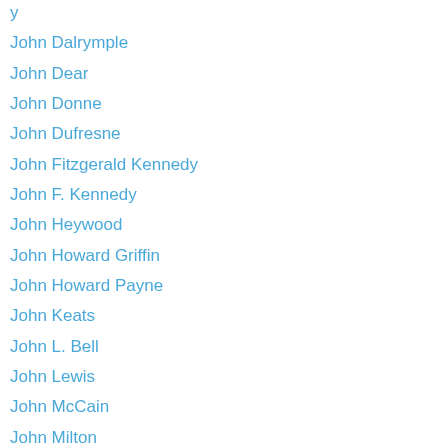John Dalrymple
John Dear
John Donne
John Dufresne
John Fitzgerald Kennedy
John F. Kennedy
John Heywood
John Howard Griffin
John Howard Payne
John Keats
John L. Bell
John Lewis
John McCain
John Milton
John Muir
John O'Donohue
John O'Donohue
John Odonohue957f2804f4
John Of The Cross
John Ruskin